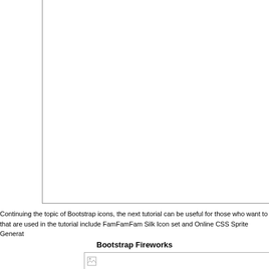[Figure (other): Large white rectangular box with left and bottom borders, representing a screenshot or image placeholder area occupying the upper portion of the page.]
Continuing the topic of Bootstrap icons, the next tutorial can be useful for those who want to that are used in the tutorial include FamFamFam Silk Icon set and Online CSS Sprite Generat
Bootstrap Fireworks
[Figure (screenshot): Partially visible image placeholder with a broken image icon in the lower right of the page.]